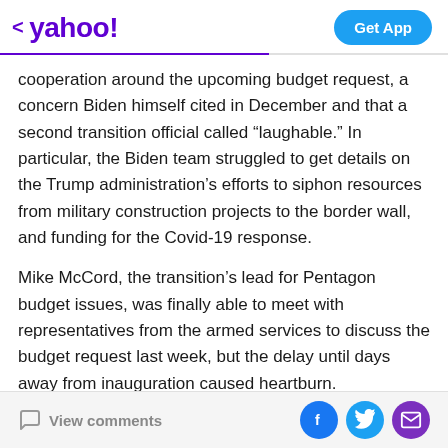< yahoo!  Get App
cooperation around the upcoming budget request, a concern Biden himself cited in December and that a second transition official called “laughable.” In particular, the Biden team struggled to get details on the Trump administration’s efforts to siphon resources from military construction projects to the border wall, and funding for the Covid-19 response.
Mike McCord, the transition’s lead for Pentagon budget issues, was finally able to meet with representatives from the armed services to discuss the budget request last week, but the delay until days away from inauguration caused heartburn.
View comments